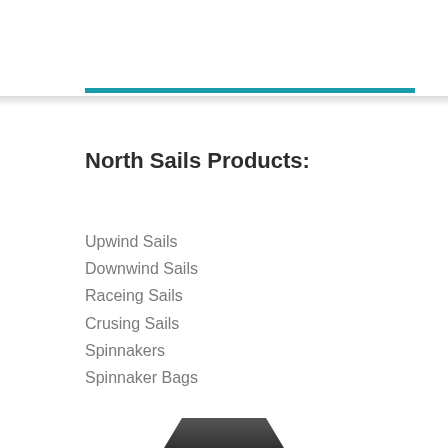North Sails Products:
Upwind Sails
Downwind Sails
Raceing Sails
Crusing Sails
Spinnakers
Spinnaker Bags